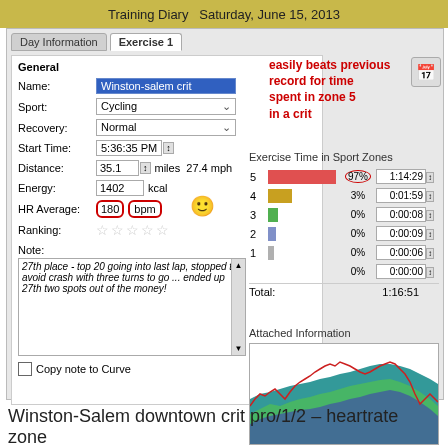Training Diary   Saturday, June 15, 2013
Day Information | Exercise 1
General
Name: Winston-salem crit
Sport: Cycling
Recovery: Normal
Start Time: 5:36:35 PM
Distance: 35.1 miles 27.4 mph
Energy: 1402 kcal
HR Average: 180 bpm
Ranking: (stars)
Note: 27th place - top 20 going into last lap, stopped to avoid crash with three turns to go ... ended up 27th two spots out of the money!
Copy note to Curve
easily beats previous record for time spent in zone 5 in a crit
| Zone | Bar | Pct | Time |
| --- | --- | --- | --- |
| 5 | red bar | 97% | 1:14:29 |
| 4 | gold bar | 3% | 0:01:59 |
| 3 | green bar | 0% | 0:00:08 |
| 2 | blue bar | 0% | 0:00:09 |
| 1 | gray bar | 0% | 0:00:06 |
|  |  | 0% | 0:00:00 |
| Total |  |  | 1:16:51 |
Exercise Time in Sport Zones
Attached Information
[Figure (other): Heart rate and training zone chart showing colored area chart over time with red line overlay. Rec. Rate: 1 s]
Winston-Salem downtown crit pro/1/2 – heartrate zone summary